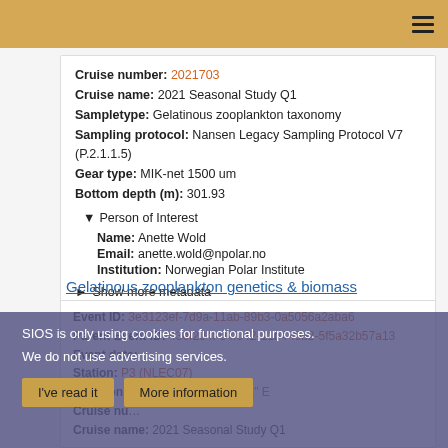Navigation header bar with hamburger menu
Cruise number: 2021703
Cruise name: 2021 Seasonal Study Q1
Sampletype: Gelatinous zooplankton taxonomy
Sampling protocol: Nansen Legacy Sampling Protocol V7 (P.2.1.1.5)
Gear type: MIK-net 1500 um
Bottom depth (m): 301.93
▼ Person of Interest
Name: Anette Wold
Email: anette.wold@npolar.no
Institution: Norwegian Polar Institute
▶ Show more metadata
Gelatinous zooplankton genetics & biomass
Event ID: 3e3123ef-7d9a-11ab-89b3-0a5056a2aba6
Parent Event ID: 43ef204f-04f042-11b4-f0b2-5f5a32b57a13
Event date: ...
Station: P3 (NLEC07)
Location: 78° 45' 33" N, 34° 0' 21" E
Cruise number: ...
Cruise name: 2021 Seasonal Study Q1
SIOS is only using cookies for functional purposes.
We do not use advertising services.
I've read it    More information